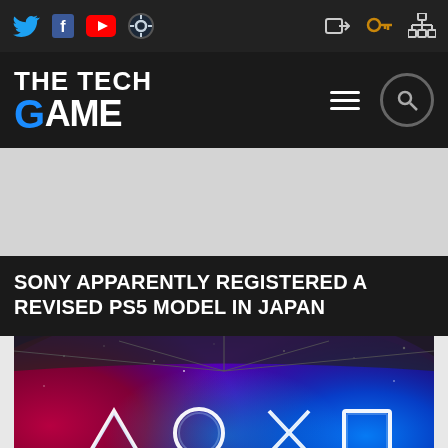The Tech Game - Social bar with Twitter, Facebook, YouTube, Steam icons and login/settings icons
[Figure (logo): The Tech Game logo - white bold text with blue G]
[Figure (photo): PlayStation event stage with colorful nebula background displaying PlayStation controller symbols: triangle, circle, X, square in glowing white light. Audience silhouettes visible at bottom.]
SONY APPARENTLY REGISTERED A REVISED PS5 MODEL IN JAPAN